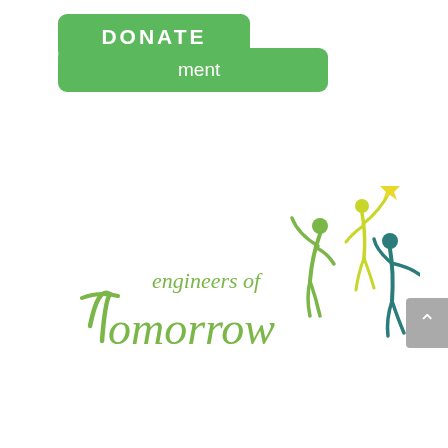[Figure (logo): Two overlapping green rounded-rectangle buttons: top one says DONATE in white bold text, bottom one shows the word 'ment' partially visible (part of 'Comment' or 'Engagement')]
[Figure (logo): Engineers of Tomorrow logo: stylized script text 'engineers of Tomorrow' in green, with three abstract human figures in green, lime-green, and yellow reaching upward toward a yellow star]